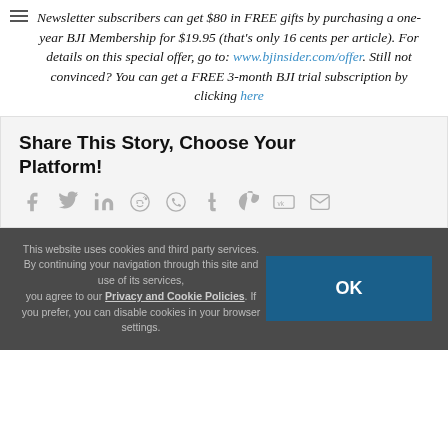Newsletter subscribers can get $80 in FREE gifts by purchasing a one-year BJI Membership for $19.95 (that's only 16 cents per article). For details on this special offer, go to: www.bjinsider.com/offer. Still not convinced? You can get a FREE 3-month BJI trial subscription by clicking here
Share This Story, Choose Your Platform!
Social share icons: facebook, twitter, linkedin, reddit, whatsapp, tumblr, pinterest, vk, email
This website uses cookies and third party services. By continuing your navigation through this site and use of its services, you agree to our Privacy and Cookie Policies. If you prefer, you can disable cookies in your browser settings.